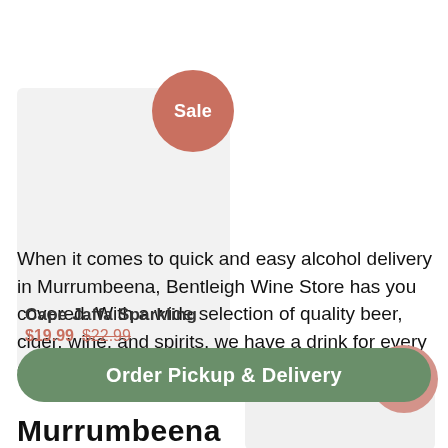[Figure (other): Product card with light gray background and a red Sale badge circle in the upper area]
Cape Jaffa Sparkling
$19.99 $22.99
When it comes to quick and easy alcohol delivery in Murrumbeena, Bentleigh Wine Store has you covered. With a wide selection of quality beer, cider, wine, and spirits, we have a drink for every occasion, delivered straight to your door.
[Figure (other): Partial product card bottom right with Sale badge]
Order Pickup & Delivery
Murrumbeena